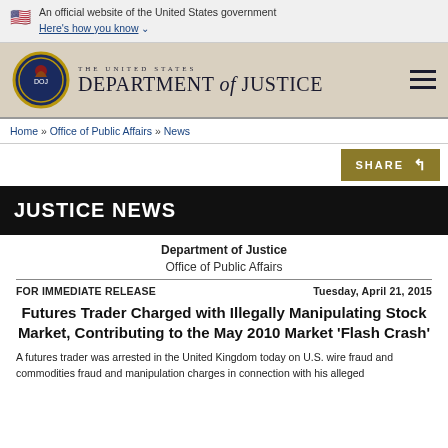An official website of the United States government
Here's how you know
[Figure (logo): United States Department of Justice seal and wordmark with hamburger menu]
Home » Office of Public Affairs » News
SHARE
JUSTICE NEWS
Department of Justice
Office of Public Affairs
FOR IMMEDIATE RELEASE
Tuesday, April 21, 2015
Futures Trader Charged with Illegally Manipulating Stock Market, Contributing to the May 2010 Market 'Flash Crash'
A futures trader was arrested in the United Kingdom today on U.S. wire fraud and commodities fraud and manipulation charges in connection with his alleged